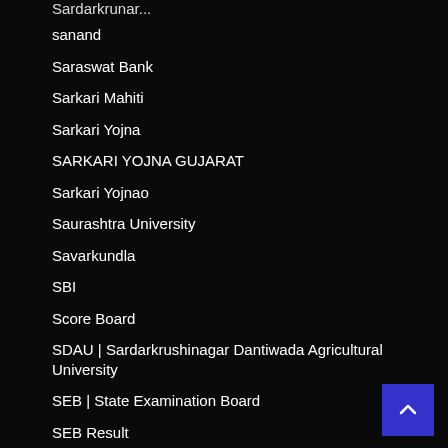Sardarkrunar...
sanand
Saraswat Bank
Sarkari Mahiti
Sarkari Yojna
SARKARI YOJNA GUJARAT
Sarkari Yojnao
Saurashtra University
Savarkundla
SBI
Score Board
SDAU | Sardarkrushinagar Dantiwada Agricultural University
SEB | State Examination Board
SEB Result
SEBI